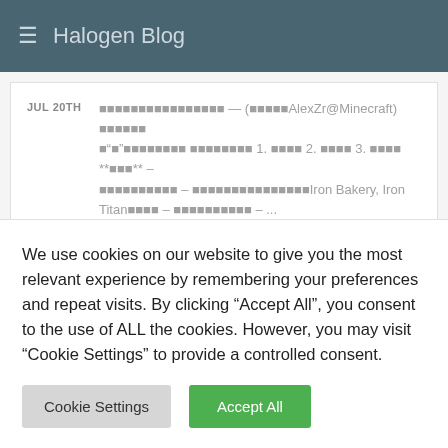Halogen Blog
JUL 20TH — (AlexZr@Minecraft) "" 1. 2. 3. ** ** – – Iron Bakery, Iron Titan – – ...
[Figure (screenshot): Blurred/placeholder blog post image]
We use cookies on our website to give you the most relevant experience by remembering your preferences and repeat visits. By clicking "Accept All", you consent to the use of ALL the cookies. However, you may visit "Cookie Settings" to provide a controlled consent.
Cookie Settings | Accept All